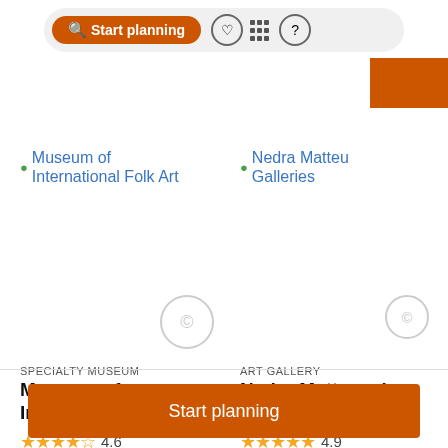[Figure (screenshot): Search bar with 'Start planning' orange button, heart/bookmark icon, grid icon, and help/question mark icon in a pill-shaped search bar]
Museum of International Folk Art
Nedra Matteucci Galleries
SPECIALTY MUSEUM
Museum of International Folk Art
4.6
Duration: 1h 30 min
ART GALLERY
Nedra Matteucci Galleries
4.9
Duration: 1h 30 min
Start planning